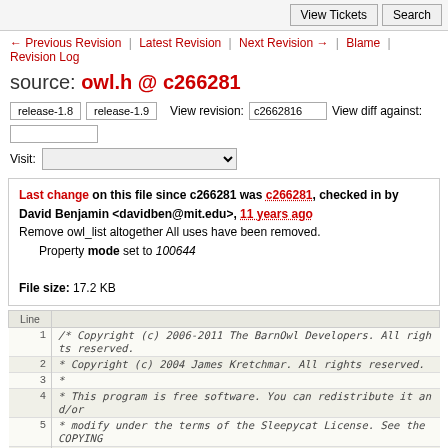View Tickets | Search
← Previous Revision | Latest Revision | Next Revision → | Blame | Revision Log
source: owl.h @ c266281
release-1.8  release-1.9  View revision: c2662816  View diff against:  Visit:
Last change on this file since c266281 was c266281, checked in by David Benjamin <davidben@mit.edu>, 11 years ago
Remove owl_list altogether All uses have been removed.
Property mode set to 100644
File size: 17.2 KB
| Line |  |
| --- | --- |
| 1 | /*  Copyright (c) 2006-2011 The BarnOwl Developers. All rights reserved. |
| 2 |  *  Copyright (c) 2004 James Kretchmar. All rights reserved. |
| 3 |  * |
| 4 |  *  This program is free software. You can redistribute it and/or |
| 5 |  *  modify under the terms of the Sleepycat License. See the COPYING |
| 6 |  *  file included with the distribution for more information. |
| 7 |  */ |
| 8 |  |
| 9 | #ifndef INC_BARNOWL_OWL_H |
| 10 | #define INC_BARNOWL_OWL_H |
| 11 |  |
| 12 | #include "config.h" |